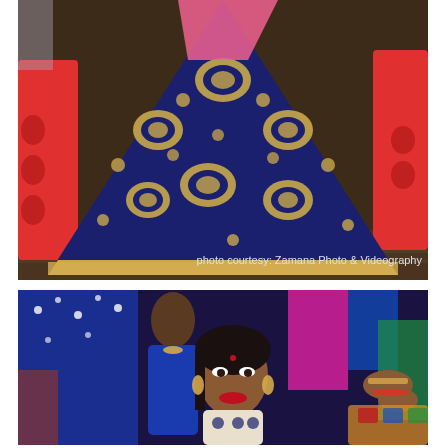[Figure (photo): Close-up photo of a woman's dark navy blue lehenga skirt with intricate gold embroidery and embellishments, spread wide as she dances. Pink and red outfits visible in the background on a wooden dance floor.]
photo courtesy: Zamana Photo & Videography
[Figure (photo): Photo of women at an Indian wedding celebration. In the foreground, a smiling woman with red lipstick wearing gold jewelry and a white embroidered outfit. Behind her, another woman in a blue outfit. Colorful drapes and decorations in the background.]